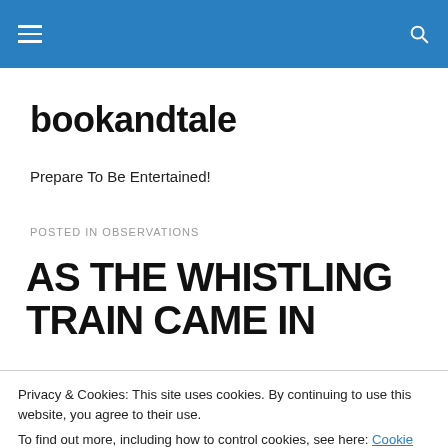bookandtale — navigation bar with hamburger menu and search icon
bookandtale
Prepare To Be Entertained!
POSTED IN OBSERVATIONS
AS THE WHISTLING TRAIN CAME IN
Privacy & Cookies: This site uses cookies. By continuing to use this website, you agree to their use.
To find out more, including how to control cookies, see here: Cookie Policy
Close and accept